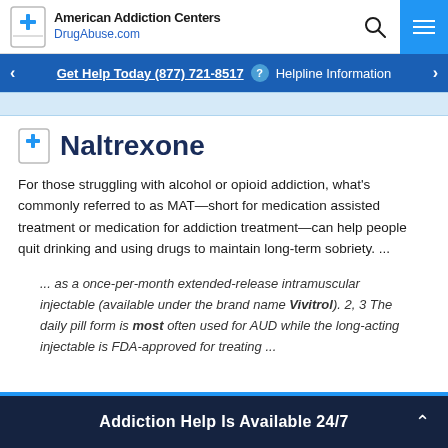American Addiction Centers DrugAbuse.com
Get Help Today (877) 721-8517 ? Helpline Information
Naltrexone
For those struggling with alcohol or opioid addiction, what's commonly referred to as MAT—short for medication assisted treatment or medication for addiction treatment—can help people quit drinking and using drugs to maintain long-term sobriety. ...
... as a once-per-month extended-release intramuscular injectable (available under the brand name Vivitrol). 2, 3 The daily pill form is most often used for AUD while the long-acting injectable is FDA-approved for treating ...
Addiction Help Is Available 24/7